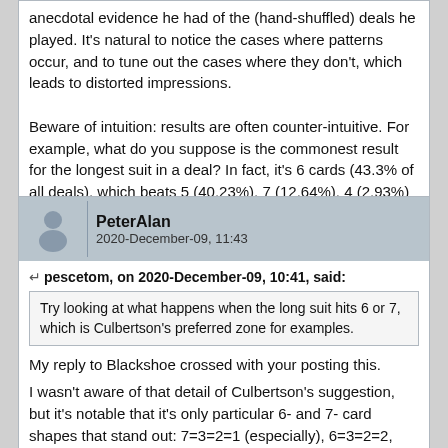anecdotal evidence he had of the (hand-shuffled) deals he played. It's natural to notice the cases where patterns occur, and to tune out the cases where they don't, which leads to distorted impressions.

Beware of intuition: results are often counter-intuitive. For example, what do you suppose is the commonest result for the longest suit in a deal? In fact, it's 6 cards (43.3% of all deals), which beats 5 (40.23%), 7 (12.64%), 4 (2.93%) and 8 (1.83%).
PeterAlan
2020-December-09, 11:43
pescetom, on 2020-December-09, 10:41, said:
Try looking at what happens when the long suit hits 6 or 7, which is Culbertson's preferred zone for examples.
My reply to Blackshoe crossed with your posting this.

I wasn't aware of that detail of Culbertson's suggestion, but it's notable that it's only particular 6- and 7- card shapes that stand out: 7=3=2=1 (especially), 6=3=2=2, and to a lesser extent 6=4=2=1 and